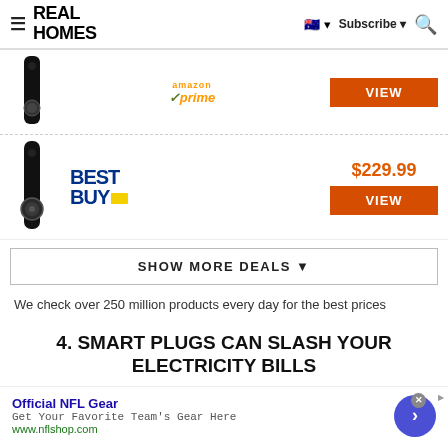REAL HOMES | Subscribe | Search
[Figure (screenshot): Product listing row with doorbell camera image, Amazon Prime logo, and VIEW button]
[Figure (screenshot): Product listing row with doorbell camera image, Best Buy logo, $229.99 price, and VIEW button]
SHOW MORE DEALS ▼
We check over 250 million products every day for the best prices
4. SMART PLUGS CAN SLASH YOUR ELECTRICITY BILLS
[Figure (screenshot): Advertisement banner: Official NFL Gear - Get Your Favorite Team's Gear Here - www.nflshop.com]